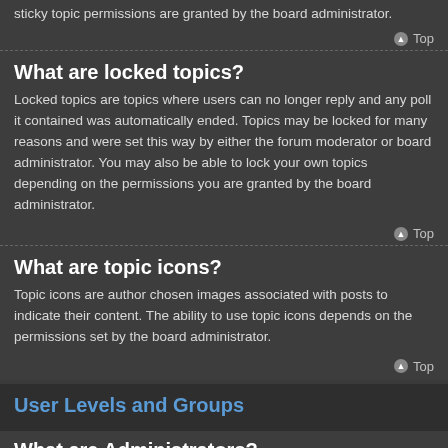sticky topic permissions are granted by the board administrator.
What are locked topics?
Locked topics are topics where users can no longer reply and any poll it contained was automatically ended. Topics may be locked for many reasons and were set this way by either the forum moderator or board administrator. You may also be able to lock your own topics depending on the permissions you are granted by the board administrator.
What are topic icons?
Topic icons are author chosen images associated with posts to indicate their content. The ability to use topic icons depends on the permissions set by the board administrator.
User Levels and Groups
What are Administrators?
Administrators are members assigned with the highest level of control over the entire board. These members can control all facets of board operation, including setting permissions, banning users, creating usergroups or